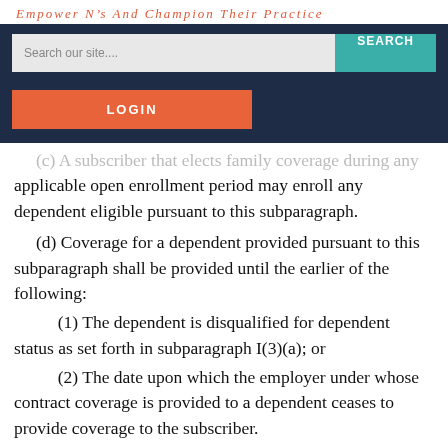Empower NPs And Champion Their Practice
[Figure (screenshot): Website navigation bar with search field and LOGIN button on dark navy background]
(c) A subscriber that elects family coverage during any applicable open enrollment period may enroll any dependent eligible pursuant to this subparagraph.
(d) Coverage for a dependent provided pursuant to this subparagraph shall be provided until the earlier of the following:
(1) The dependent is disqualified for dependent status as set forth in subparagraph I(3)(a); or
(2) The date upon which the employer under whose contract coverage is provided to a dependent ceases to provide coverage to the subscriber.
(e) Nothing in this subparagraph shall be construed to permit a health insurance carrier to refuse an election for